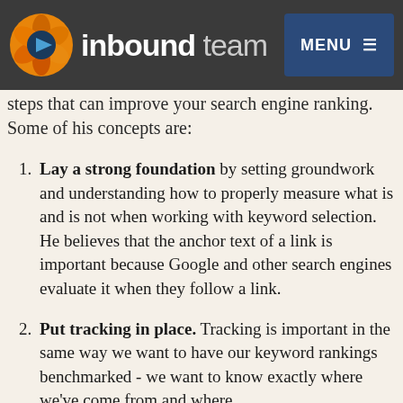inbound team — MENU
MarketingSherpa webinar, where Alex Di... with Marketing123, whipped up five link-building steps that can improve your search engine ranking. Some of his concepts are:
Lay a strong foundation by setting groundwork and understanding how to properly measure what is and is not when working with keyword selection. He believes that the anchor text of a link is important because Google and other search engines evaluate it when they follow a link.
Put tracking in place. Tracking is important in the same way we want to have our keyword rankings benchmarked - we want to know exactly where we've come from and where